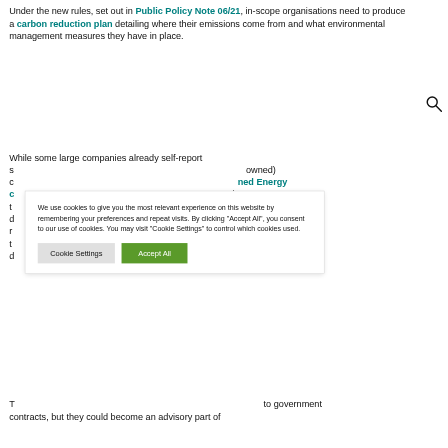Under the new rules, set out in Public Policy Note 06/21, in-scope organisations need to produce a carbon reduction plan detailing where their emissions come from and what environmental management measures they have in place.
While some large companies already self-report s... (owned) c... ned Energy c... the new t... s includes d... 050 and r... business t... tation, d...
We use cookies to give you the most relevant experience on this website by remembering your preferences and repeat visits. By clicking "Accept All", you consent to our use of cookies. You may visit "Cookie Settings" to control which cookies used.
T... to government contracts, but they could become an advisory part of